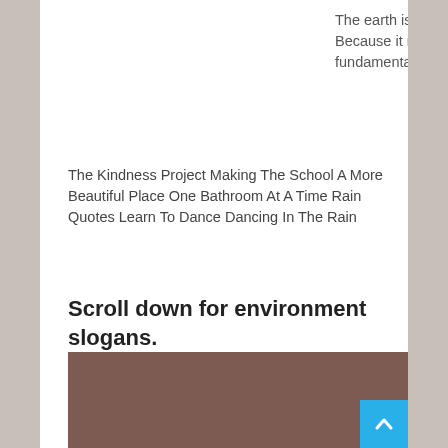The earth is what. Because it makes fundamental sense.
The Kindness Project Making The School A More Beautiful Place One Bathroom At A Time Rain Quotes Learn To Dance Dancing In The Rain
Scroll down for environment slogans.
[Figure (photo): A brownish-mauve colored rectangular image block, partially visible at the bottom of the page.]